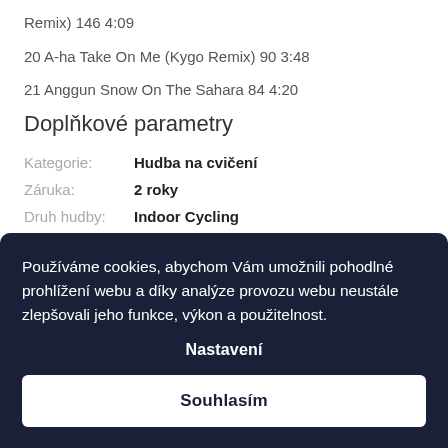Remix) 146 4:09
20 A-ha Take On Me (Kygo Remix) 90 3:48
21 Anggun Snow On The Sahara 84 4:20
Doplňkové parametry
| Label | Value |
| --- | --- |
| Kategorie: | Hudba na cvičení |
| Záruka: | 2 roky |
| Druh hudby: | Indoor Cycling |
Používáme cookies, abychom Vám umožnili pohodlné prohlížení webu a díky analýze provozu webu neustále zlepšovali jeho funkce, výkon a použitelnost.
Nastavení
Souhlasím